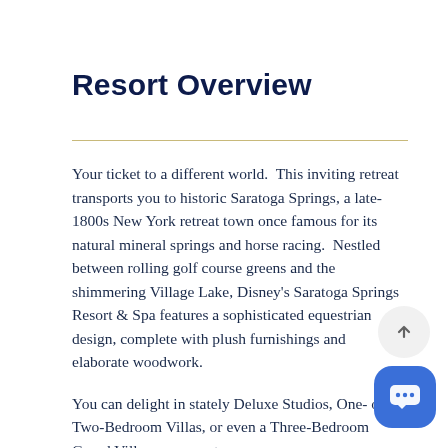Resort Overview
Your ticket to a different world.  This inviting retreat transports you to historic Saratoga Springs, a late-1800s New York retreat town once famous for its natural mineral springs and horse racing.  Nestled between rolling golf course greens and the shimmering Village Lake, Disney's Saratoga Springs Resort & Spa features a sophisticated equestrian design, complete with plush furnishings and elaborate woodwork.
You can delight in stately Deluxe Studios, One- or Two-Bedroom Villas, or even a Three-Bedroom Grand Villa, or escape to